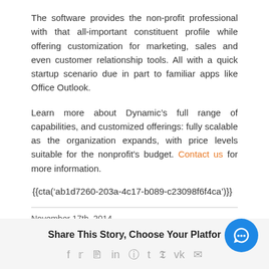The software provides the non-profit professional with that all-important constituent profile while offering customization for marketing, sales and even customer relationship tools. All with a quick startup scenario due in part to familiar apps like Office Outlook.
Learn more about Dynamic’s full range of capabilities, and customized offerings: fully scalable as the organization expands, with price levels suitable for the nonprofit’s budget. Contact us for more information.
{{cta('ab1d7260-203a-4c17-b089-c23098f6f4ca')}}
November 17th, 2014
Share This Story, Choose Your Platform!